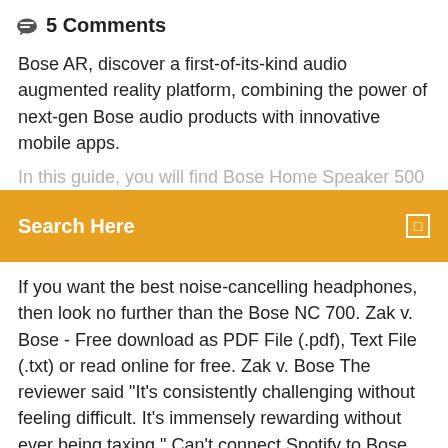💬  5 Comments
Bose AR, discover a first-of-its-kind audio augmented reality platform, combining the power of next-gen Bose audio products with innovative mobile apps.
[Figure (screenshot): Partially visible text line behind orange search bar overlay]
[Figure (screenshot): Orange search bar with text 'Search Here' and a small square icon on the right]
If you want the best noise-cancelling headphones, then look no further than the Bose NC 700. Zak v. Bose - Free download as PDF File (.pdf), Text File (.txt) or read online for free. Zak v. Bose The reviewer said "It's consistently challenging without feeling difficult. It's immensely rewarding without ever being taxing." Can't connect Spotify to Bose speaker? No worry! There are two detailed ways guiding you to play Spotify music on Bose SoundTouch with ease. Read reviews, compare customer ratings, see screenshots, and learn more about BOSEbuild